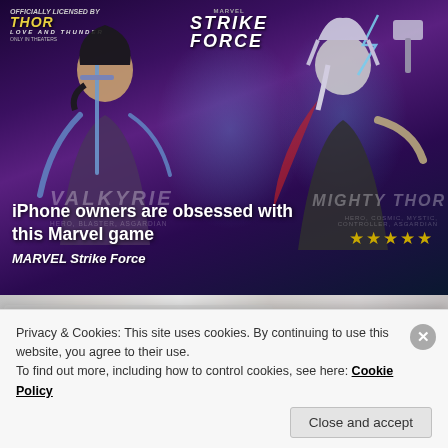[Figure (screenshot): Marvel Strike Force game advertisement banner featuring Valkyrie and Mighty Thor characters on a purple/dark fantasy background with Marvel Strike Force logo. Text overlay: 'iPhone owners are obsessed with this Marvel game' and 'MARVEL Strike Force' subtitle with star rating.]
iPhone owners are obsessed with this Marvel game
MARVEL Strike Force
[Figure (screenshot): Partial second advertisement image, mostly gray/blurred, partially obscured by cookie banner.]
Privacy & Cookies: This site uses cookies. By continuing to use this website, you agree to their use.
To find out more, including how to control cookies, see here: Cookie Policy
Close and accept